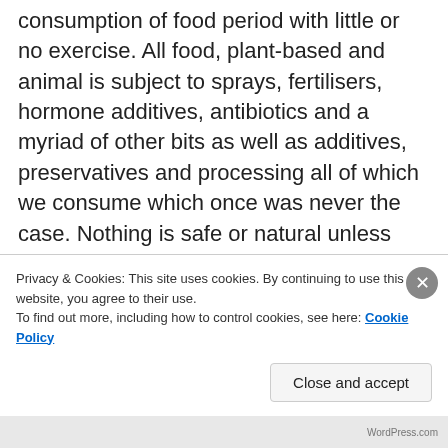consumption of food period with little or no exercise. All food, plant-based and animal is subject to sprays, fertilisers, hormone additives, antibiotics and a myriad of other bits as well as additives, preservatives and processing all of which we consume which once was never the case. Nothing is safe or natural unless you grow or breed your own. That now though is subject to scrutiny and demand because of the diseases created and can spread without control.
As an omnivore, I also know that the human race overindulges and flesh is by far over consumed
Privacy & Cookies: This site uses cookies. By continuing to use this website, you agree to their use.
To find out more, including how to control cookies, see here: Cookie Policy
Close and accept